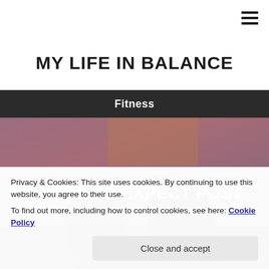≡
MY LIFE IN BALANCE
Fitness
[Figure (photo): Photo of people at a fitness event with colorful mural background]
8 THINGS TO EXPECT POST
Privacy & Cookies: This site uses cookies. By continuing to use this website, you agree to their use.
To find out more, including how to control cookies, see here: Cookie Policy
Close and accept